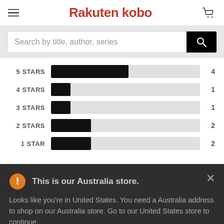[Figure (logo): Rakuten Kobo logo with hamburger menu and shopping cart icon]
Search by title, author, series
[Figure (bar-chart): Star ratings distribution]
This is our Australia store.
Looks like you're in United States. You need a Australia address to shop on our Australia store. Go to our United States store to continue.
Go to United States Store
Choose another store